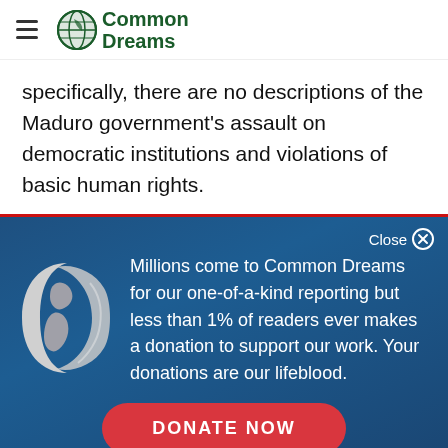Common Dreams
specifically, there are no descriptions of the Maduro government's assault on democratic institutions and violations of basic human rights.
[Figure (illustration): Donation modal overlay with gradient blue background, globe icon on left, and text about Common Dreams readership and donations]
Close ⊗
Millions come to Common Dreams for our one-of-a-kind reporting but less than 1% of readers ever makes a donation to support our work. Your donations are our lifeblood.
DONATE NOW